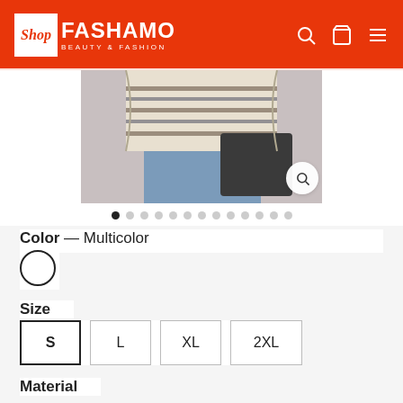[Figure (logo): Shop Fashamo Beauty & Fashion logo on orange header background]
[Figure (photo): Product photo of a striped knit sweater/cardigan with jeans, cropped view]
Color — Multicolor
Size
S (selected)
L
XL
2XL
Material